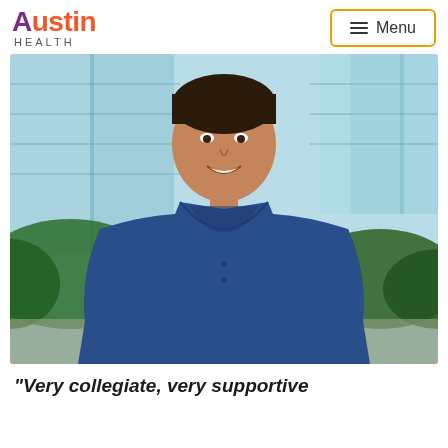Austin Health — Menu
[Figure (photo): A smiling man wearing blue medical scrubs photographed outdoors in front of a blurred green and glass building background. He appears to be a healthcare worker.]
"Very collegiate, very supportive